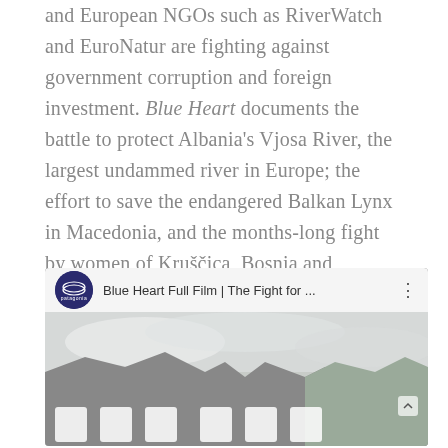and European NGOs such as RiverWatch and EuroNatur are fighting against government corruption and foreign investment. Blue Heart documents the battle to protect Albania's Vjosa River, the largest undammed river in Europe; the effort to save the endangered Balkan Lynx in Macedonia, and the months-long fight by women of Kruščica, Bosnia and Herzegovina, who are protesting day and night to save their community's only source of drinking water.
[Figure (screenshot): YouTube video embed showing 'Blue Heart Full Film | The Fight for ...' by Patagonia, with a thumbnail showing mountain scenery and large white letters at the bottom.]